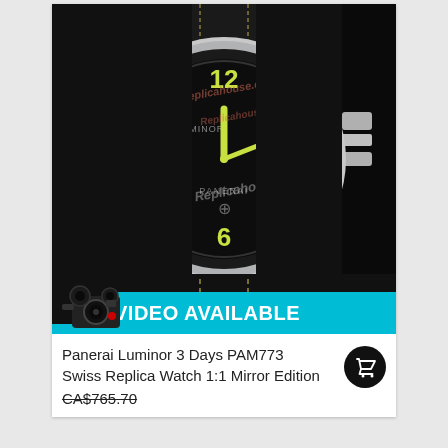[Figure (photo): Close-up photo of a Panerai Luminor watch with black dial showing luminous numerals 3, 6, 9, 12, and yellow-green hour markers, on a black leather strap with yellow stitching. Multiple 'Replicahouse.ca' watermarks overlay the image. A teal banner at the bottom reads 'VIDEO AVAILABLE' with a vintage camera icon.]
Panerai Luminor 3 Days PAM773 Swiss Replica Watch 1:1 Mirror Edition
CA$765.70